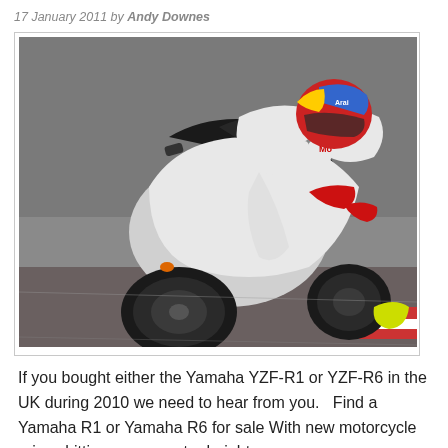17 January 2011 by Andy Downes
[Figure (photo): A motorcycle racer leaning into a corner on a white Yamaha YZF sport bike on a race track. The rider wears a white leather suit with red gloves and a colorful Arai helmet (red, blue, and yellow). The bike is a white and black Yamaha YZF-R1 or R6.]
If you bought either the Yamaha YZF-R1 or YZF-R6 in the UK during 2010 we need to hear from you.   Find a Yamaha R1 or Yamaha R6 for sale With new motorcycle prices hitting even greater heights we...